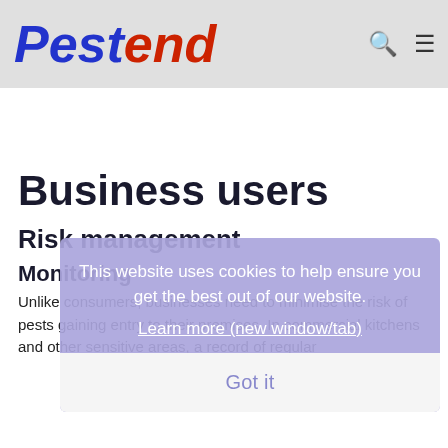Pestend
Business users
Risk management
Monitoring
Unlike consumers, businesses need to minimise the risk of pests gaining entry to their premises. In commercial kitchens and other sensitive areas, a record of regular
This website uses cookies to help ensure you get the best out of our website.
Learn more (new window/tab)
Got it